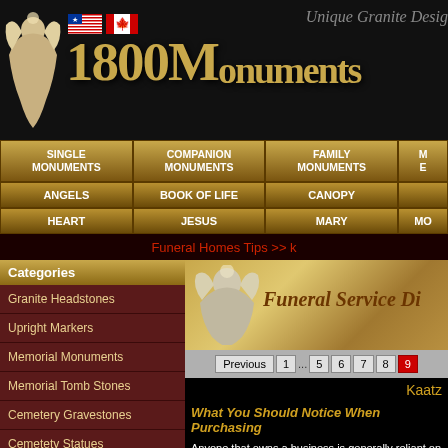[Figure (screenshot): 1800Monuments website header with angel logo, US and Canadian flags, and site name in gold text]
Unique Granite Desig...
SINGLE MONUMENTS
COMPANION MONUMENTS
FAMILY MONUMENTS
ANGELS
BOOK OF LIFE
CANOPY
HEART
JESUS
MARY
Funeral Homes Tips >> k
Categories
Granite Headstones
Upright Markers
Memorial Monuments
Memorial Tomb Stones
Cemetery Gravestones
Cemetety Statues
Memorial Stones
Obelisks & Cenotaphs
Granite Memorials
[Figure (illustration): Angel statue on golden banner with text Funeral Service Di...]
Previous 1 ... 5 6 7 8 9
Kaatz
What You Should Notice When Purchasing...
Anyone that owns a business is generally reliant on t... owners discover that providing services of some kino... Owners involved in this industry should know the bas...
Owners of a funeral home are reliant on a highly...